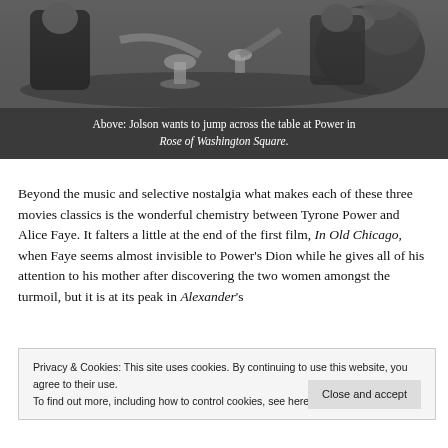[Figure (photo): Black and white photograph of people at a dinner table, clinking glasses, with floral arrangements visible.]
Above: Jolson wants to jump across the table at Power in Rose of Washington Square.
Beyond the music and selective nostalgia what makes each of these three movies classics is the wonderful chemistry between Tyrone Power and Alice Faye. It falters a little at the end of the first film, In Old Chicago, when Faye seems almost invisible to Power's Dion while he gives all of his attention to his mother after discovering the two women amongst the turmoil, but it is at its peak in Alexander's
Privacy & Cookies: This site uses cookies. By continuing to use this website, you agree to their use.
To find out more, including how to control cookies, see here: Privacy Policy
Close and accept